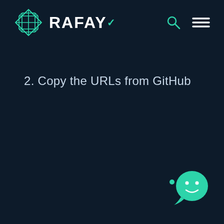[Figure (logo): Rafay logo with geometric diamond/lattice icon in teal and white text RAFAY with a teal checkmark accent on the Y]
[Figure (other): Search icon (magnifying glass) and hamburger menu icon in teal/white on dark background]
2. Copy the URLs from GitHub
[Figure (other): Teal chat bubble / support widget icon in bottom right corner]